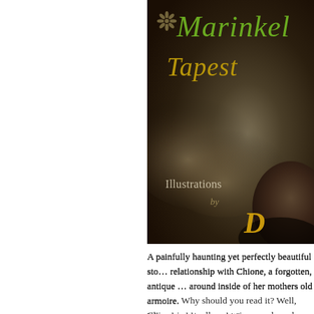[Figure (illustration): Partial book cover showing title 'Marinkel' in green italic script and 'Tapest...' in gold italic script against a dark sepia background with a blurred figure/face. Text 'Illustrations by D...' overlaid on the cover image.]
A painfully haunting yet perfectly beautiful sto... relationship with Chione, a forgotten, antique ... around inside of her mothers old armoire. Why should you read it? Well, Chione is actually conscious, endowed w... reveal to Aurelie that will change her life forev... And also you should read it because it is a dam...